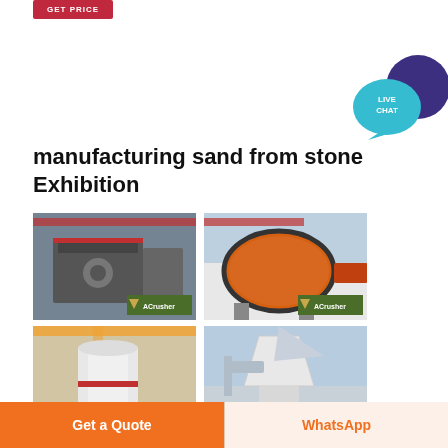GET PRICE
[Figure (illustration): Live chat button with teal speech bubble and dark purple circle icon]
manufacturing sand from stone Exhibition
[Figure (photo): Industrial crusher machine (ACrusher brand) - grey heavy machinery in warehouse]
[Figure (photo): Orange cylindrical ball mill machine (ACrusher brand)]
[Figure (photo): White vertical grinding mill machine (ACrusher brand)]
[Figure (photo): Grey industrial grinding/separating equipment (ACrusher brand)]
Get a Quote
WhatsApp